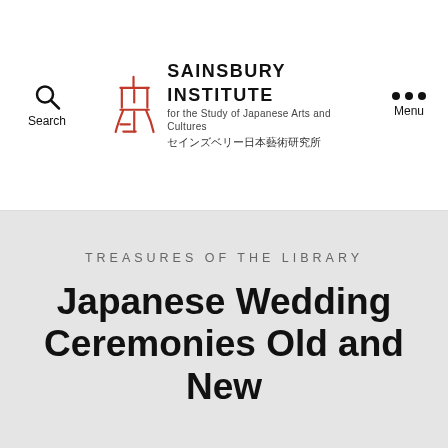Sainsbury Institute for the Study of Japanese Arts and Cultures — セインズベリー日本藝術研究所
TREASURES OF THE LIBRARY
Japanese Wedding Ceremonies Old and New